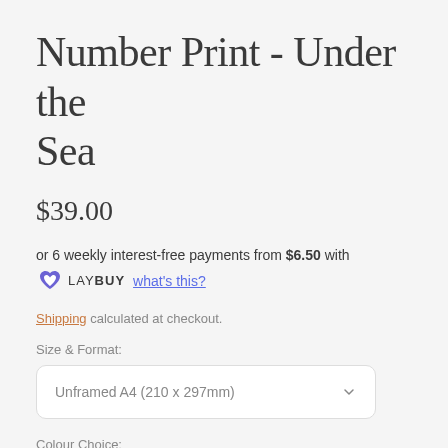Number Print - Under the Sea
$39.00
or 6 weekly interest-free payments from $6.50 with LAY BUY what's this?
Shipping calculated at checkout.
Size & Format:
Unframed A4 (210 x 297mm)
Colour Choice:
Pastel